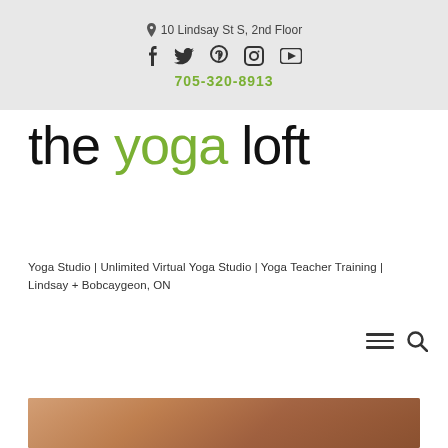10 Lindsay St S, 2nd Floor
705-320-8913
the yoga loft
Yoga Studio | Unlimited Virtual Yoga Studio | Yoga Teacher Training | Lindsay + Bobcaygeon, ON
[Figure (photo): Partial bottom image strip showing a person's hands/skin, cropped at the bottom of the page]